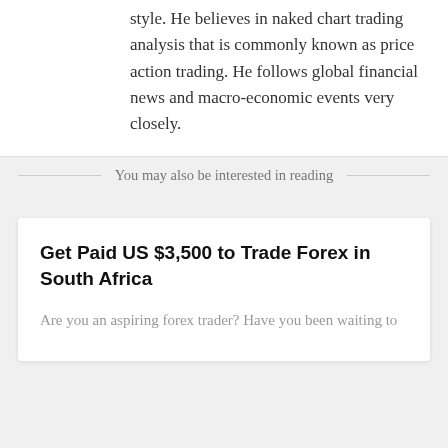style. He believes in naked chart trading analysis that is commonly known as price action trading. He follows global financial news and macro-economic events very closely.
You may also be interested in reading
Get Paid US $3,500 to Trade Forex in South Africa
Are you an aspiring forex trader? Have you been waiting to